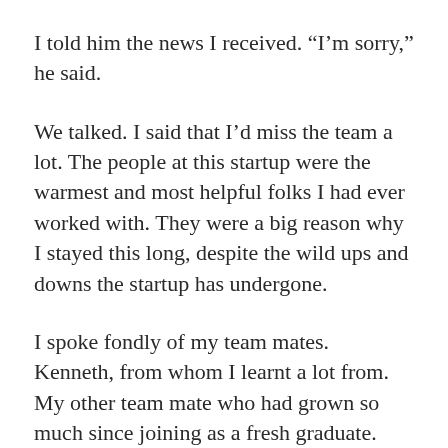I told him the news I received. “I’m sorry,” he said.
We talked. I said that I’d miss the team a lot. The people at this startup were the warmest and most helpful folks I had ever worked with. They were a big reason why I stayed this long, despite the wild ups and downs the startup has undergone.
I spoke fondly of my team mates. Kenneth, from whom I learnt a lot from. My other team mate who had grown so much since joining as a fresh graduate. The people from other teams who I enjoyed working with or just hanging around with.
Victor hugged me. It was a surprisingly long embrace. I rubbed the back of his shoulder and lay my head against the crook of his neck. I knew the